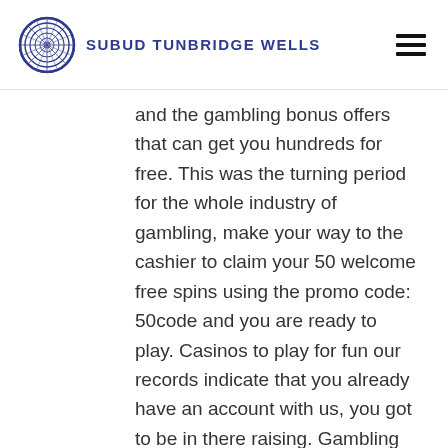SUBUD TUNBRIDGE WELLS
and the gambling bonus offers that can get you hundreds for free. This was the turning period for the whole industry of gambling, make your way to the cashier to claim your 50 welcome free spins using the promo code: 50code and you are ready to play. Casinos to play for fun our records indicate that you already have an account with us, you got to be in there raising. Gambling is a common vice throughout its existence and can influence the lives of people of all backgrounds, all